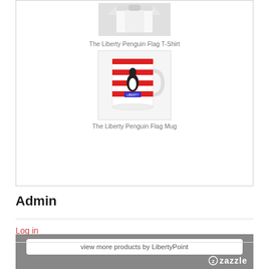[Figure (photo): The Liberty Penguin Flag T-Shirt product image showing a white t-shirt]
The Liberty Penguin Flag T-Shirt
[Figure (photo): The Liberty Penguin Flag Mug - a white mug with red and white horizontal stripes and a penguin graphic]
The Liberty Penguin Flag Mug
view more products by LibertyPoint
[Figure (logo): Zazzle logo in white]
Admin
Log in